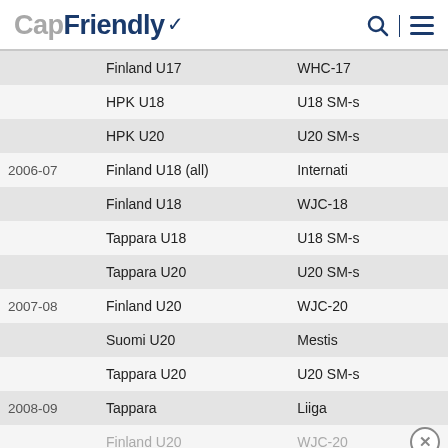CapFriendly
| Season | Team | League |
| --- | --- | --- |
|  | Finland U17 | WHC-17 |
|  | HPK U18 | U18 SM-s |
|  | HPK U20 | U20 SM-s |
| 2006-07 | Finland U18 (all) | Internati |
|  | Finland U18 | WJC-18 |
|  | Tappara U18 | U18 SM-s |
|  | Tappara U20 | U20 SM-s |
| 2007-08 | Finland U20 | WJC-20 |
|  | Suomi U20 | Mestis |
|  | Tappara U20 | U20 SM-s |
| 2008-09 | Tappara | Liiga |
|  | Finland U20 | WJC-20 |
|  | Suomi U20 | Mestis |
| 2009-10 | Tappara | Liiga |